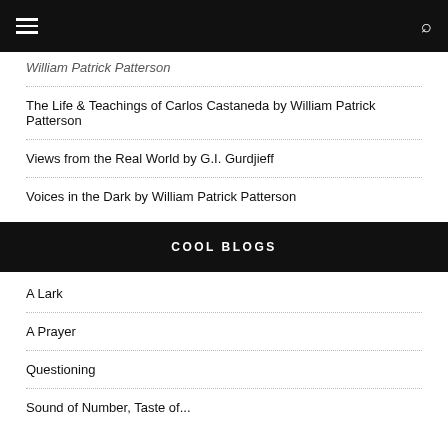William Patrick Patterson
The Life & Teachings of Carlos Castaneda by William Patrick Patterson
Views from the Real World by G.I. Gurdjieff
Voices in the Dark by William Patrick Patterson
COOL BLOGS
A Lark
A Prayer
Questioning
Sound of Number, Taste of...